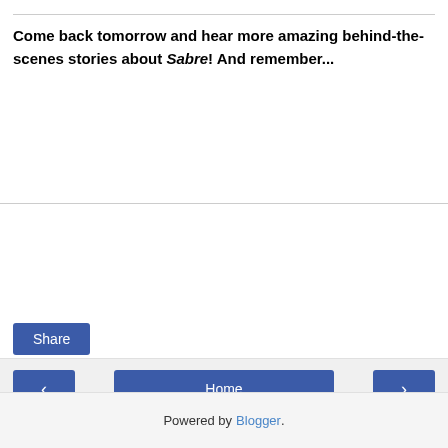Come back tomorrow and hear more amazing behind-the-scenes stories about Sabre! And remember...
Share
< Home > View web version Powered by Blogger.